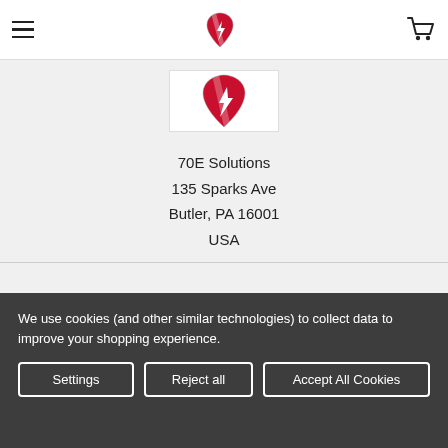70E Solutions — Navigation header with hamburger menu, logo, and cart icon
[Figure (logo): 70E Solutions logo: red heart-shield shape with a lightning bolt, on white background — displayed twice (header and main content area)]
70E Solutions
135 Sparks Ave
Butler, PA 16001
USA
Call us at 724-789-7246
We use cookies (and other similar technologies) to collect data to improve your shopping experience.
Settings    Reject all    Accept All Cookies